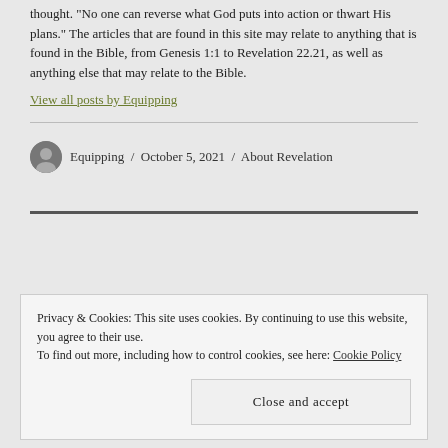thought. "No one can reverse what God puts into action or thwart His plans." The articles that are found in this site may relate to anything that is found in the Bible, from Genesis 1:1 to Revelation 22.21, as well as anything else that may relate to the Bible.
View all posts by Equipping
Equipping / October 5, 2021 / About Revelation
Privacy & Cookies: This site uses cookies. By continuing to use this website, you agree to their use.
To find out more, including how to control cookies, see here: Cookie Policy
Close and accept